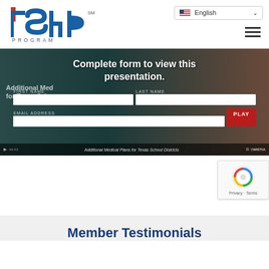[Figure (logo): TSHB Program logo in blue with red accent mark and 'SM' superscript, 'PROGRAM' text below in spaced letters]
[Figure (screenshot): Video embed showing 'Complete form to view this presentation.' overlay with FIRST NAME, LAST NAME, EMAIL ADDRESS fields and PLAY button. Background shows slide titled 'Additional Medical Plans for Texas School Districts'. Bottom bar shows Wistia player controls.]
Member Testimonials